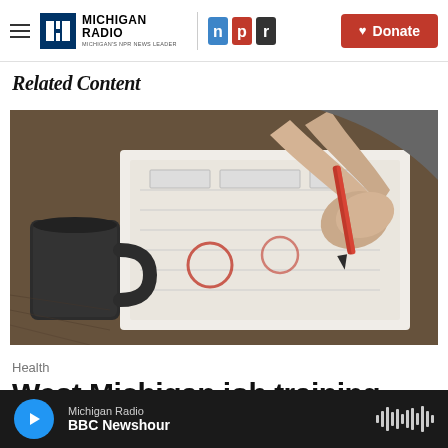Michigan Radio NPR — Donate
Related Content
[Figure (photo): A hand holding a red pen writing on paper documents on a wooden table, with a dark coffee mug in the foreground]
Health
West Michigan job training program for disabled will soon
Michigan Radio — BBC Newshour